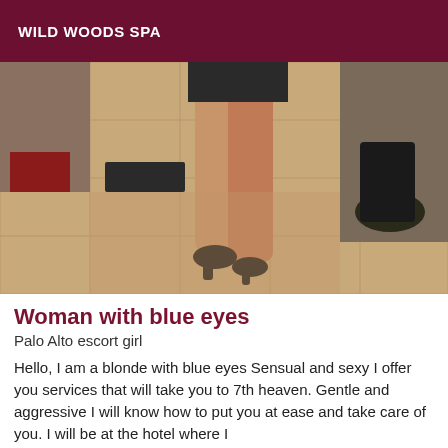WILD WOODS SPA
[Figure (photo): Photo of a woman's legs standing on a tiled floor, wearing high heels and a short skirt, with a room visible in the background.]
Woman with blue eyes
Palo Alto escort girl
Hello,  I am a blonde with blue eyes Sensual and sexy I offer you services that will take you to 7th heaven. Gentle and aggressive I will know how to put you at ease and take care of you. I will be at the hotel where I